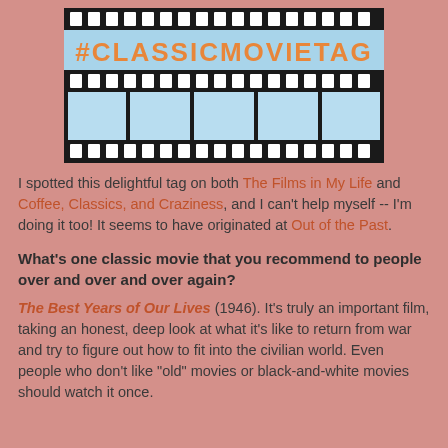[Figure (illustration): Film strip graphic with light blue background showing two rows of film perforations (sprocket holes) at top and bottom and film frames in between. The text '#CLASSICMOVIETAG' is displayed in orange bold letters in the center of the film strip.]
I spotted this delightful tag on both The Films in My Life and Coffee, Classics, and Craziness, and I can't help myself -- I'm doing it too!  It seems to have originated at Out of the Past.
What's one classic movie that you recommend to people over and over and over again?
The Best Years of Our Lives (1946).  It's truly an important film, taking an honest, deep look at what it's like to return from war and try to figure out how to fit into the civilian world.  Even people who don't like "old" movies or black-and-white movies should watch it once.